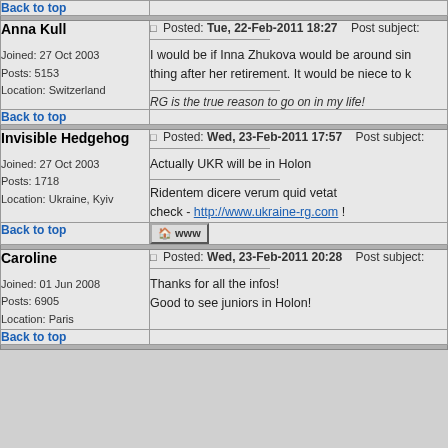Back to top
Anna Kull
Joined: 27 Oct 2003
Posts: 5153
Location: Switzerland
Posted: Tue, 22-Feb-2011 18:27   Post subject:
I would be if Inna Zhukova would be around since thing after her retirement. It would be niece to k...
RG is the true reason to go on in my life!
Back to top
Invisible Hedgehog
Joined: 27 Oct 2003
Posts: 1718
Location: Ukraine, Kyiv
Posted: Wed, 23-Feb-2011 17:57   Post subject:
Actually UKR will be in Holon
Ridentem dicere verum quid vetat
check - http://www.ukraine-rg.com !
Back to top
[Figure (other): WWW button icon]
Caroline
Joined: 01 Jun 2008
Posts: 6905
Location: Paris
Posted: Wed, 23-Feb-2011 20:28   Post subject:
Thanks for all the infos!
Good to see juniors in Holon!
Back to top